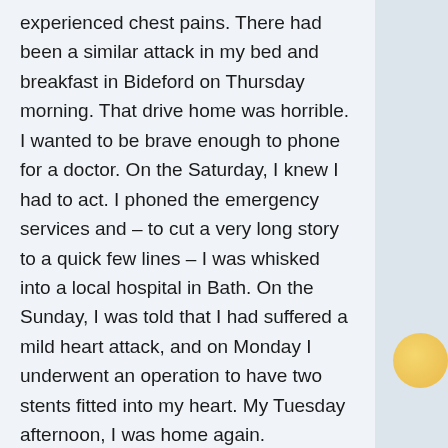experienced chest pains. There had been a similar attack in my bed and breakfast in Bideford on Thursday morning. That drive home was horrible. I wanted to be brave enough to phone for a doctor. On the Saturday, I knew I had to act. I phoned the emergency services and – to cut a very long story to a quick few lines – I was whisked into a local hospital in Bath. On the Sunday, I was told that I had suffered a mild heart attack, and on Monday I underwent an operation to have two stents fitted into my heart. My Tuesday afternoon, I was home again.

I remained off work for five weeks, and slowly returned in stages. A half-day here, a half-day there. I remained calm throughout these weeks. I knew, deep